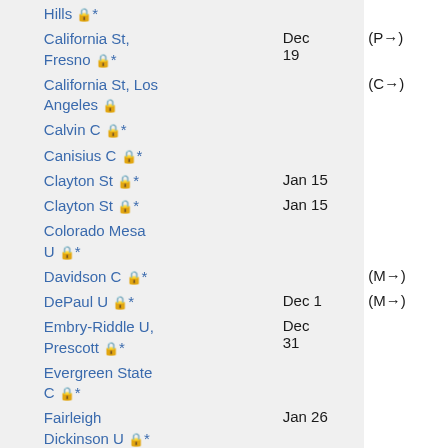Hills 🔒*
California St, Fresno 🔒*  Dec 19  (P→)
California St, Los Angeles 🔒  (C→)
Calvin C 🔒*
Canisius C 🔒*
Clayton St 🔒*  Jan 15
Clayton St 🔒*  Jan 15
Colorado Mesa U 🔒*
Davidson C 🔒*  (M→)
DePaul U 🔒*  Dec 1  (M→)
Embry-Riddle U, Prescott 🔒*  Dec 31
Evergreen State C 🔒*
Fairleigh Dickinson U 🔒*  Jan 26
Franklin & Marshall C 🔒*  Feb 2